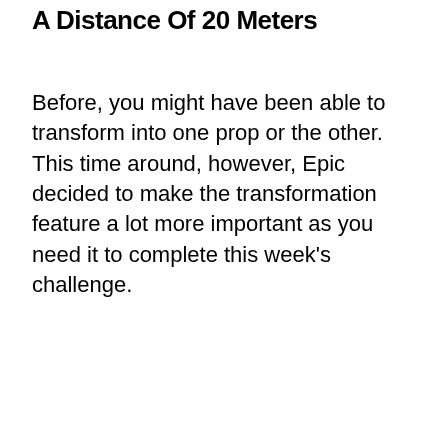A Distance Of 20 Meters
Before, you might have been able to transform into one prop or the other. This time around, however, Epic decided to make the transformation feature a lot more important as you need it to complete this week's challenge.